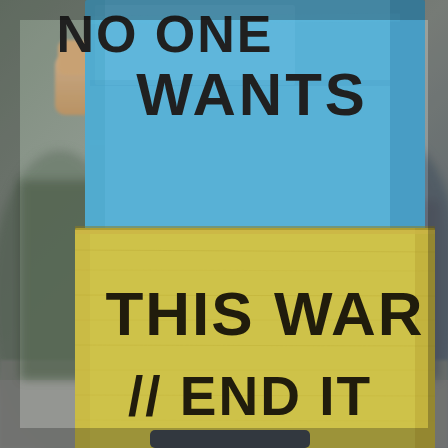[Figure (photo): A protest photo showing a person holding a large sign with two sections: the top half is painted bright blue with black hand-written text reading 'NO ONE WANTS' (partially visible at top), and the bottom half is a yellow-green cardboard section with black hand-written text reading 'THIS WAR // END IT'. The background is blurred with muted gray and green tones, suggesting an outdoor protest setting. The image is styled to resemble Ukrainian flag colors (blue and yellow).]